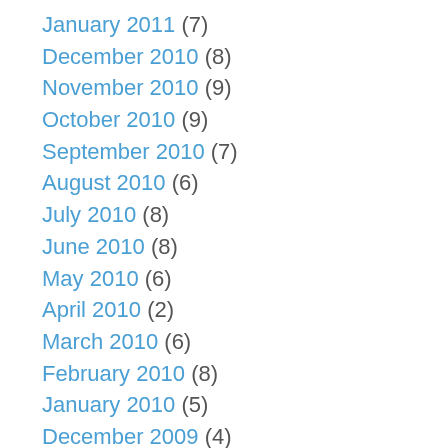January 2011 (7)
December 2010 (8)
November 2010 (9)
October 2010 (9)
September 2010 (7)
August 2010 (6)
July 2010 (8)
June 2010 (8)
May 2010 (6)
April 2010 (2)
March 2010 (6)
February 2010 (8)
January 2010 (5)
December 2009 (4)
November 2009 (7)